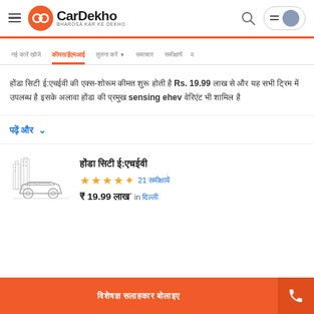[Figure (logo): CarDekho logo with orange circular icon and text 'CarDekho BHAROSA KAR KE DEKHO']
Navigation bar with menu items in Hindi and a highlighted active tab
Hindi text describing a car priced at Rs. 19.99 with mention of sensing ehev variant
पढ़ें और ∨ (Read more dropdown)
होंडा सिटी ई:एचईवी — 4.5 stars, 21 समीक्षायें — ₹19.99 लाख* in दिल्ली
[Figure (illustration): Grey line illustration of a sedan car with city buildings silhouette in background]
विशेषज्ञ सलाहकार बोलाइए (Call expert advisor button)